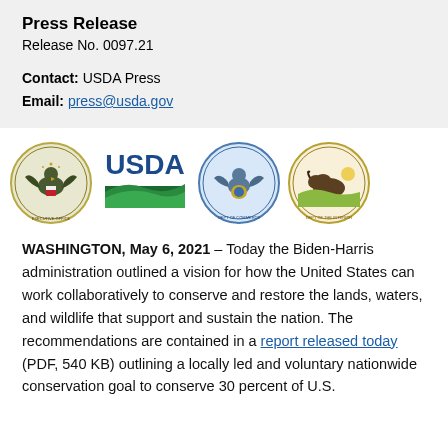Press Release
Release No. 0097.21
Contact: USDA Press
Email: press@usda.gov
[Figure (logo): Four logos in a row: Executive Office of the President seal, USDA logo, Department of Commerce seal, Department of the Interior seal]
WASHINGTON, May 6, 2021 – Today the Biden-Harris administration outlined a vision for how the United States can work collaboratively to conserve and restore the lands, waters, and wildlife that support and sustain the nation. The recommendations are contained in a report released today (PDF, 540 KB) outlining a locally led and voluntary nationwide conservation goal to conserve 30 percent of U.S.